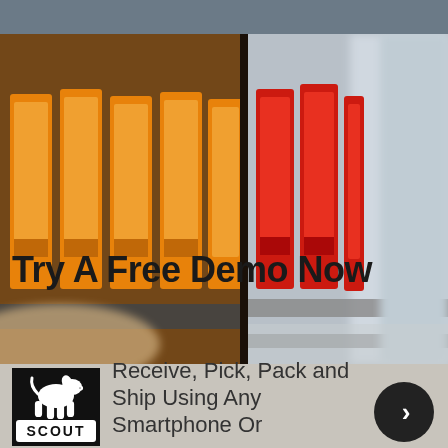[Figure (photo): Warehouse shelving with orange and red plastic bins/containers on metal racks, two photos side by side]
Try A Free Demo Now
[Figure (logo): Scout logo — white dog silhouette and text SCOUT on black background]
Receive, Pick, Pack and Ship Using Any Smartphone Or Mobile Device